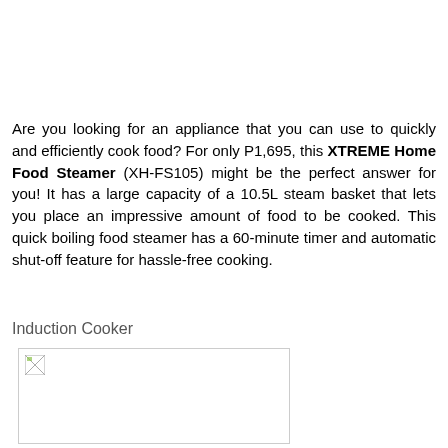Are you looking for an appliance that you can use to quickly and efficiently cook food? For only P1,695, this XTREME Home Food Steamer (XH-FS105) might be the perfect answer for you! It has a large capacity of a 10.5L steam basket that lets you place an impressive amount of food to be cooked. This quick boiling food steamer has a 60-minute timer and automatic shut-off feature for hassle-free cooking.
Induction Cooker
[Figure (photo): Image of an induction cooker (broken/unloaded image placeholder shown)]